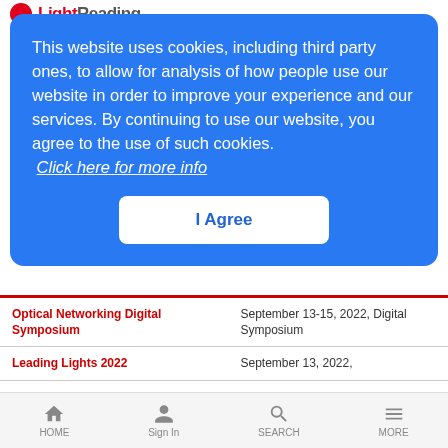LightReading
This website uses cookies, including third party ones, to allow for analysis of how people use our website in order to improve your experience and our services. By continuing to use our website, you agree to the use of such cookies.
Click here for more info
I Agree
| Event | Date/Type |
| --- | --- |
| Optical Networking Digital Symposium | September 13-15, 2022, Digital Symposium |
| Leading Lights 2022 | September 13, 2022, |
| Edge Computing Digital Symposium | September 20-22, 2022, Digital Symposium |
| Transforming the Cable HFC Network Breakfast Event at SCTE | September 20, 2022, Breakfast Event |
HOME  Sign In  SEARCH  MORE